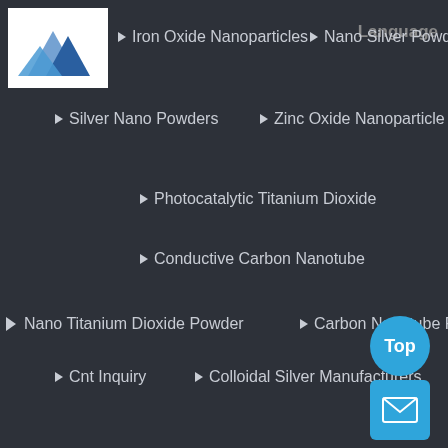[Figure (logo): Blue mountain/peaks logo on white background]
Iron Oxide Nanoparticles
Nano Silver Powder Price
Language
Silver Nano Powders
Zinc Oxide Nanoparticle
Photocatalytic Titanium Dioxide
Conductive Carbon Nanotube
Nano Titanium Dioxide Powder
Carbon Nanotube Price
Cnt Inquiry
Colloidal Silver Manufacturers
Powder Nano Silver
Titanium Dioxide Tio2 Nano Particles Price
Nano Silver Price
Mwcnt